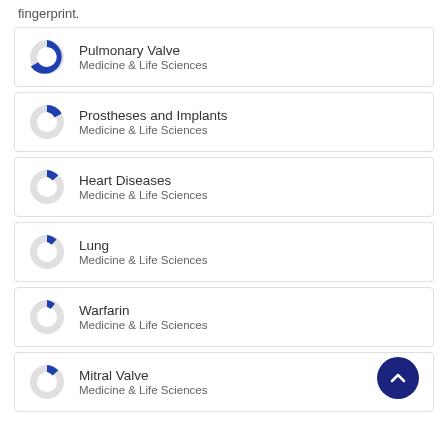fingerprint.
Pulmonary Valve — Medicine & Life Sciences
Prostheses and Implants — Medicine & Life Sciences
Heart Diseases — Medicine & Life Sciences
Lung — Medicine & Life Sciences
Warfarin — Medicine & Life Sciences
Mitral Valve — Medicine & Life Sciences